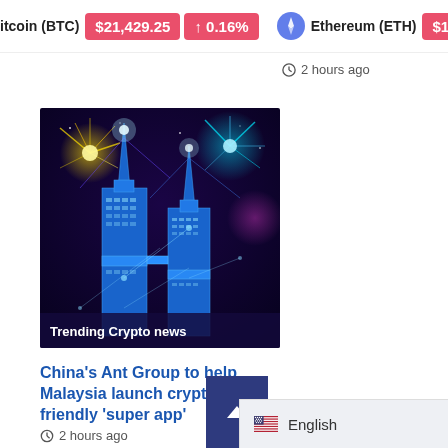Bitcoin (BTC) $21,429.25 ↑ 0.16% | Ethereum (ETH) $1,647.
2 hours ago
[Figure (photo): Illuminated skyscrapers (Petronas Twin Towers style) with glowing neon light effects and fireworks, digitally stylized. Overlay text reads: Trending Crypto news]
China's Ant Group to help Malaysia launch crypto-friendly 'super app'
2 hours ago
English